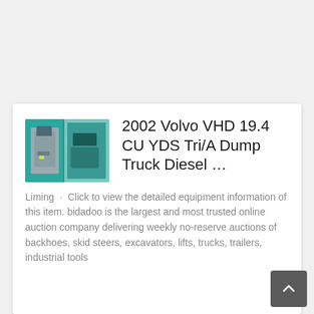[Figure (photo): Thumbnail photo of a teal/green dump truck interior door panel and cab view]
2002 Volvo VHD 19.4 CU YDS Tri/A Dump Truck Diesel …
Liming · Click to view the detailed equipment information of this item. bidadoo is the largest and most trusted online auction company delivering weekly no-reserve auctions of backhoes, skid steers, excavators, lifts, trucks, trailers, industrial tools